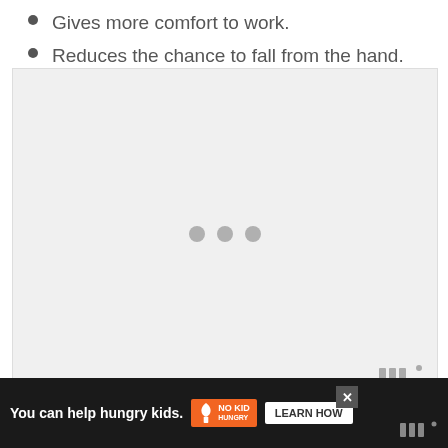Gives more comfort to work.
Reduces the chance to fall from the hand.
[Figure (other): Loading placeholder image area with three gray dots in center and a watermark logo in bottom right corner]
You can help hungry kids. NO KID HUNGRY LEARN HOW